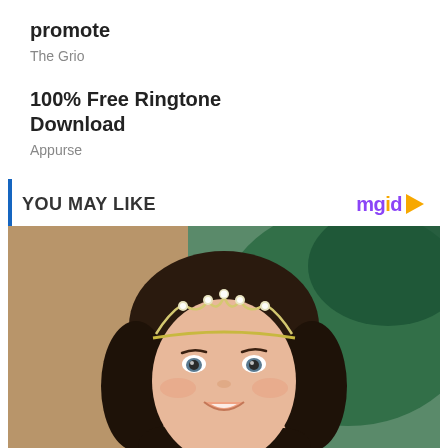promote
The Grio
100% Free Ringtone Download
Appurse
YOU MAY LIKE
[Figure (photo): Portrait photo of a young girl with dark curly hair wearing a floral tiara/crown, smiling, with a blurred green and beige background]